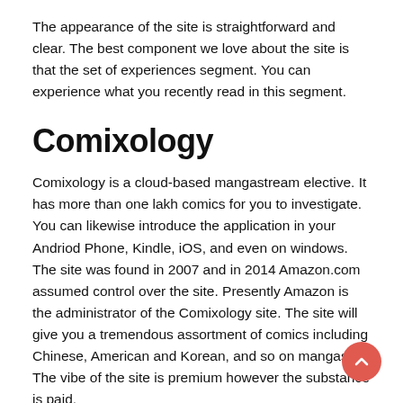The appearance of the site is straightforward and clear. The best component we love about the site is that the set of experiences segment. You can experience what you recently read in this segment.
Comixology
Comixology is a cloud-based mangastream elective. It has more than one lakh comics for you to investigate. You can likewise introduce the application in your Andriod Phone, Kindle, iOS, and even on windows. The site was found in 2007 and in 2014 Amazon.com assumed control over the site. Presently Amazon is the administrator of the Comixology site. The site will give you a tremendous assortment of comics including Chinese, American and Korean, and so on mangas. The vibe of the site is premium however the substance is paid.